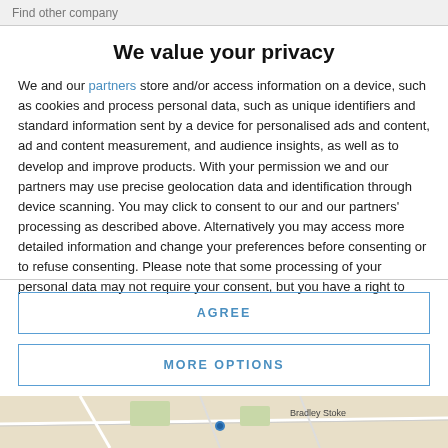Find other company
We value your privacy
We and our partners store and/or access information on a device, such as cookies and process personal data, such as unique identifiers and standard information sent by a device for personalised ads and content, ad and content measurement, and audience insights, as well as to develop and improve products. With your permission we and our partners may use precise geolocation data and identification through device scanning. You may click to consent to our and our partners' processing as described above. Alternatively you may access more detailed information and change your preferences before consenting or to refuse consenting. Please note that some processing of your personal data may not require your consent, but you have a right to
AGREE
MORE OPTIONS
[Figure (map): Partial map showing Bradley Stoke area]